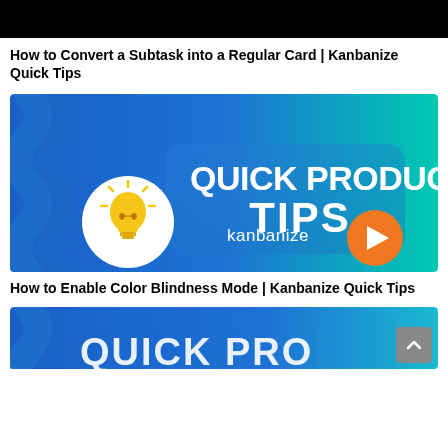[Figure (screenshot): Black bar at top of page]
How to Convert a Subtask into a Regular Card | Kanbanize Quick Tips
[Figure (screenshot): Kanbanize Quick Product Tips thumbnail with blue-to-teal gradient background, wavy blue decoration on left, large white bold text 'QUICK PRODUCT TIPS', a white circle containing a yellow lightbulb icon, and 'kanbanize' text with an orange arrow button on the right]
How to Enable Color Blindness Mode | Kanbanize Quick Tips
[Figure (screenshot): Partially visible second Kanbanize Quick Product Tips thumbnail with blue gradient background and partial white text visible at bottom]